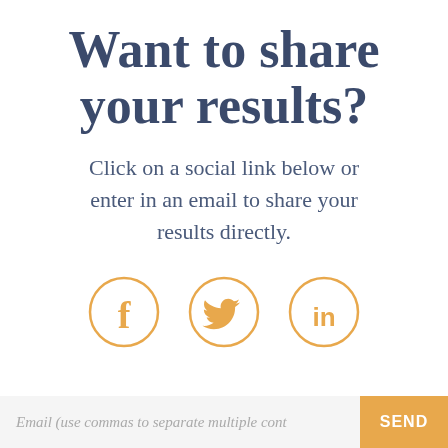Want to share your results?
Click on a social link below or enter in an email to share your results directly.
[Figure (illustration): Three social media icons in orange circles: Facebook (f), Twitter (bird), LinkedIn (in)]
Email (use commas to separate multiple cont
SEND